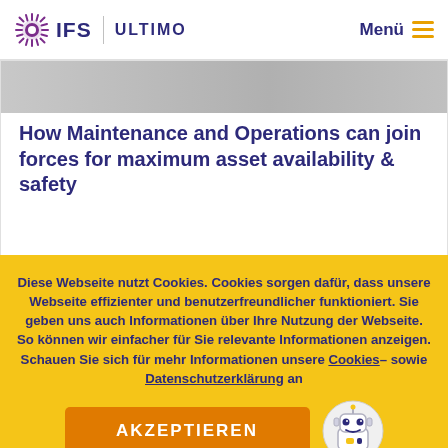IFS ULTIMO   Menü
How Maintenance and Operations can join forces for maximum asset availability & safety
Diese Webseite nutzt Cookies. Cookies sorgen dafür, dass unsere Webseite effizienter und benutzerfreundlicher funktioniert. Sie geben uns auch Informationen über Ihre Nutzung der Webseite. So können wir einfacher für Sie relevante Informationen anzeigen. Schauen Sie sich für mehr Informationen unsere Cookies– sowie Datenschutzerklärung an
AKZEPTIEREN